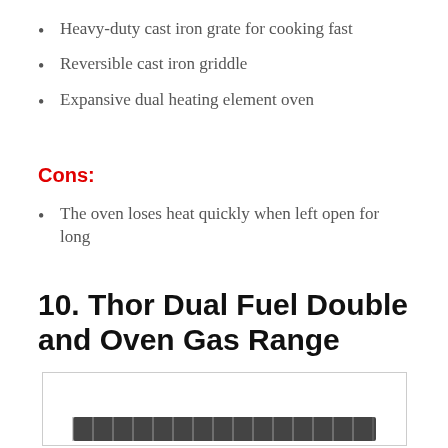Heavy-duty cast iron grate for cooking fast
Reversible cast iron griddle
Expansive dual heating element oven
Cons:
The oven loses heat quickly when left open for long
10. Thor Dual Fuel Double and Oven Gas Range
[Figure (photo): Photo of the Thor Dual Fuel Double and Oven Gas Range appliance, partially visible at bottom of page]